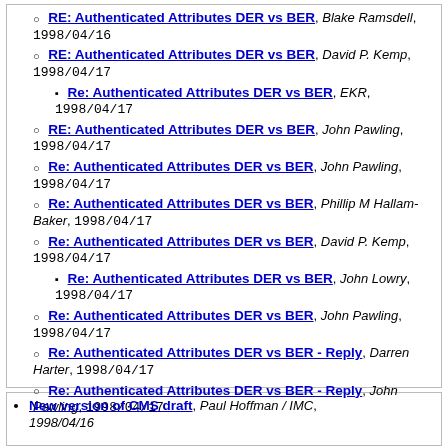RE: Authenticated Attributes DER vs BER, Blake Ramsdell, 1998/04/16
RE: Authenticated Attributes DER vs BER, David P. Kemp, 1998/04/17
Re: Authenticated Attributes DER vs BER, EKR, 1998/04/17
RE: Authenticated Attributes DER vs BER, John Pawling, 1998/04/17
Re: Authenticated Attributes DER vs BER, John Pawling, 1998/04/17
Re: Authenticated Attributes DER vs BER, Phillip M Hallam-Baker, 1998/04/17
Re: Authenticated Attributes DER vs BER, David P. Kemp, 1998/04/17
Re: Authenticated Attributes DER vs BER, John Lowry, 1998/04/17
Re: Authenticated Attributes DER vs BER, John Pawling, 1998/04/17
Re: Authenticated Attributes DER vs BER - Reply, Darren Harter, 1998/04/17
Re: Authenticated Attributes DER vs BER - Reply, John Pawling, 1998/04/17
New version of CMS draft, Paul Hoffman / IMC, 1998/04/16